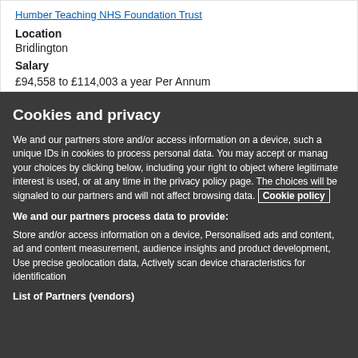Humber Teaching NHS Foundation Trust
Location
Bridlington
Salary
£94,558 to £114,003 a year Per Annum
Cookies and privacy
We and our partners store and/or access information on a device, such as unique IDs in cookies to process personal data. You may accept or manage your choices by clicking below, including your right to object where legitimate interest is used, or at any time in the privacy policy page. These choices will be signaled to our partners and will not affect browsing data. Cookie policy
We and our partners process data to provide:
Store and/or access information on a device, Personalised ads and content, ad and content measurement, audience insights and product development, Use precise geolocation data, Actively scan device characteristics for identification
List of Partners (vendors)